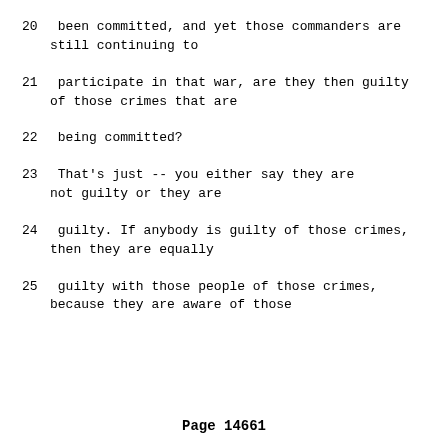20     been committed, and yet those commanders are still continuing to
21     participate in that war, are they then guilty of those crimes that are
22     being committed?
23          That's just -- you either say they are not guilty or they are
24     guilty.  If anybody is guilty of those crimes, then they are equally
25     guilty with those people of those crimes, because they are aware of those
Page 14661